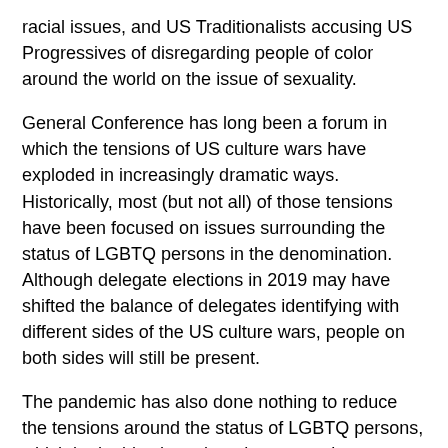racial issues, and US Traditionalists accusing US Progressives of disregarding people of color around the world on the issue of sexuality.
General Conference has long been a forum in which the tensions of US culture wars have exploded in increasingly dramatic ways. Historically, most (but not all) of those tensions have been focused on issues surrounding the status of LGBTQ persons in the denomination. Although delegate elections in 2019 may have shifted the balance of delegates identifying with different sides of the US culture wars, people on both sides will still be present.
The pandemic has also done nothing to reduce the tensions around the status of LGBTQ persons, which both sides have largely accepted as irreconcilable at this point. Instead, what the pandemic has done is provide a series of new cultural flashpoints to fuel conflict at General Conference. The pandemic has made United Methodists wait for the next General Conference. But the conflicts at that meeting will be only more spectacular because of it.